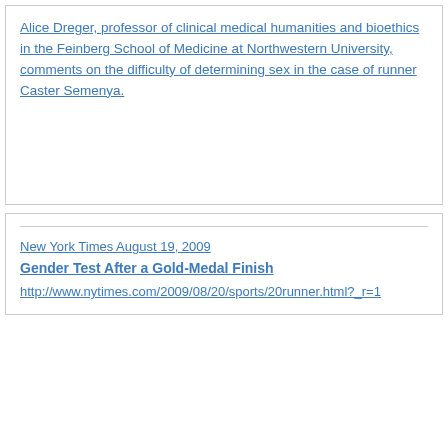Alice Dreger, professor of clinical medical humanities and bioethics in the Feinberg School of Medicine at Northwestern University, comments on the difficulty of determining sex in the case of runner Caster Semenya.
New York Times August 19, 2009
Gender Test After a Gold-Medal Finish
http://www.nytimes.com/2009/08/20/sports/20runner.html?_r=1